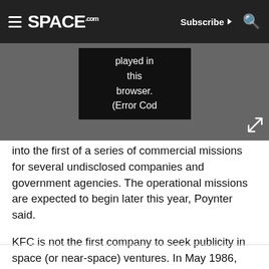SPACE.com — Subscribe | Search
[Figure (screenshot): Video player error message reading 'played in this browser. (Error Cod' on dark background with expand icon]
into the first of a series of commercial missions for several undisclosed companies and government agencies. The operational missions are expected to begin later this year, Poynter said.
KFC is not the first company to seek publicity in space (or near-space) ventures. In May 1986, Pepsi reportedly paid about $5 million to the Russian space agency for two spacewalking cosmonauts to pose outside the Mir space station with a giant replica of a new Pepsi-can design for a TV commercial.